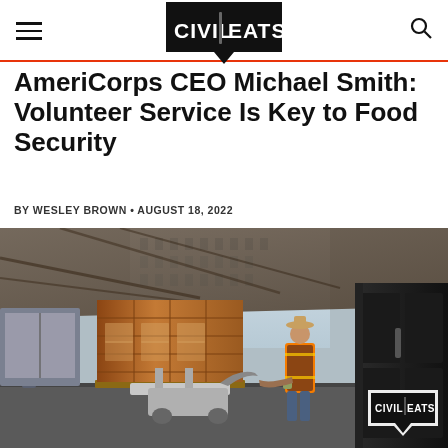Civil Eats
AmeriCorps CEO Michael Smith: Volunteer Service Is Key to Food Security
BY WESLEY BROWN • AUGUST 18, 2022
[Figure (photo): A worker in an orange safety vest and cowboy hat operates a pallet jack loaded with stacked cardboard boxes in a large warehouse loading dock area. Another person is visible walking in the background. A Civil Eats logo badge appears in the lower right corner of the image.]